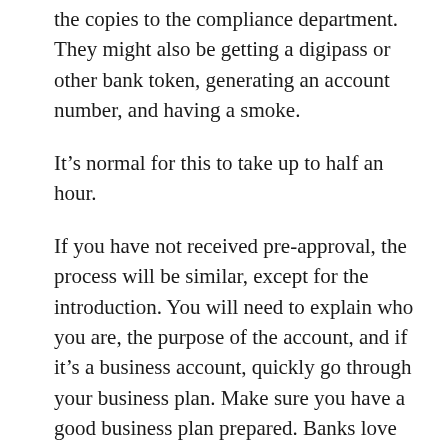the copies to the compliance department. They might also be getting a digipass or other bank token, generating an account number, and having a smoke.
It’s normal for this to take up to half an hour.
If you have not received pre-approval, the process will be similar, except for the introduction. You will need to explain who you are, the purpose of the account, and if it’s a business account, quickly go through your business plan. Make sure you have a good business plan prepared. Banks love business plans. Not as much as they love money, but it’s definitely in the top-20 list of things banks love.
If you did not make an appointment in advance, just take a queue number and wait for your turn.
Appearance